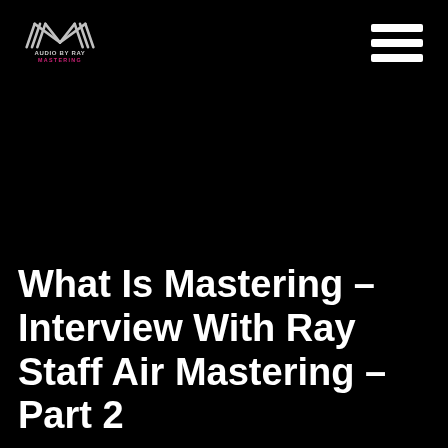AUDIO BY RAY MASTERING
What Is Mastering – Interview With Ray Staff Air Mastering – Part 2